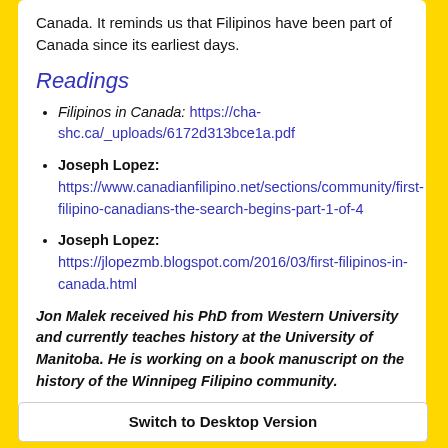Canada. It reminds us that Filipinos have been part of Canada since its earliest days.
Readings
Filipinos in Canada: https://cha-shc.ca/_uploads/6172d313bce1a.pdf
Joseph Lopez: https://www.canadianfilipino.net/sections/community/first-filipino-canadians-the-search-begins-part-1-of-4
Joseph Lopez: https://jlopezmb.blogspot.com/2016/03/first-filipinos-in-canada.html
Jon Malek received his PhD from Western University and currently teaches history at the University of Manitoba. He is working on a book manuscript on the history of the Winnipeg Filipino community.
Switch to Desktop Version